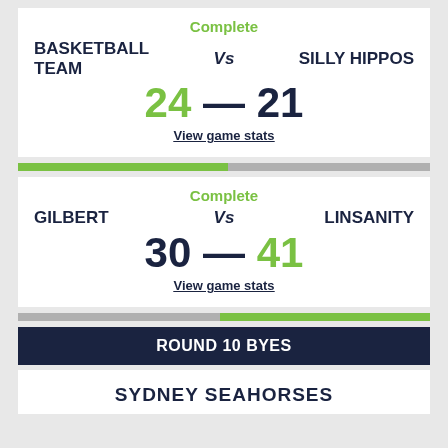Complete
BASKETBALL TEAM Vs SILLY HIPPOS
24 — 21
View game stats
Complete
GILBERT Vs LINSANITY
30 — 41
View game stats
ROUND 10 BYES
SYDNEY SEAHORSES